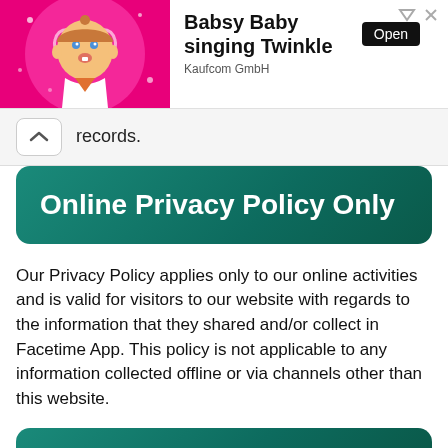[Figure (infographic): Advertisement banner showing Babsy Baby animated character on pink sparkle background with text 'Babsy Baby singing Twinkle', 'Kaufcom GmbH', and an 'Open' button]
records.
Online Privacy Policy Only
Our Privacy Policy applies only to our online activities and is valid for visitors to our website with regards to the information that they shared and/or collect in Facetime App. This policy is not applicable to any information collected offline or via channels other than this website.